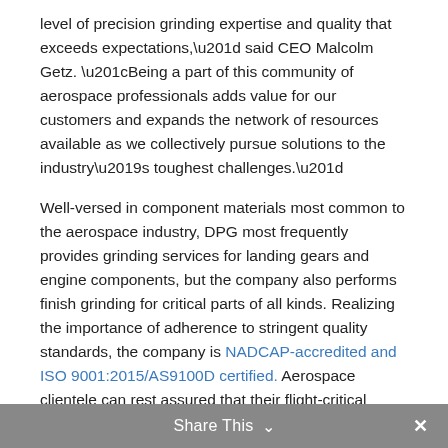level of precision grinding expertise and quality that exceeds expectations,” said CEO Malcolm Getz. “Being a part of this community of aerospace professionals adds value for our customers and expands the network of resources available as we collectively pursue solutions to the industry’s toughest challenges.”
Well-versed in component materials most common to the aerospace industry, DPG most frequently provides grinding services for landing gears and engine components, but the company also performs finish grinding for critical parts of all kinds. Realizing the importance of adherence to stringent quality standards, the company is NADCAP-accredited and ISO 9001:2015/AS9100D certified. Aerospace clientele can rest assured that their flight-critical components from DPG will meet all the industry standards to operate safely and reliably.
See more Recent Updates